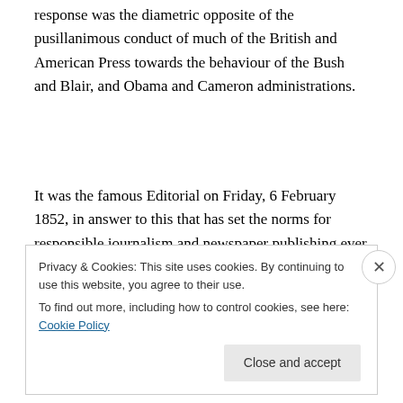response was the diametric opposite of the pusillanimous conduct of much of the British and American Press towards the behaviour of the Bush and Blair, and Obama and Cameron administrations.
It was the famous Editorial on Friday, 6 February 1852, in answer to this that has set the norms for responsible journalism and newspaper publishing ever since. Delane wrote:
“The Earl of DERBY remarked with considerable emphasis in his speech on the Address, that as in these days the
Privacy & Cookies: This site uses cookies. By continuing to use this website, you agree to their use.
To find out more, including how to control cookies, see here: Cookie Policy